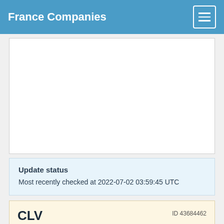France Companies
[Figure (other): Advertisement or empty white content area]
Update status
Most recently checked at 2022-07-02 03:59:45 UTC
CLV
ID 43684462